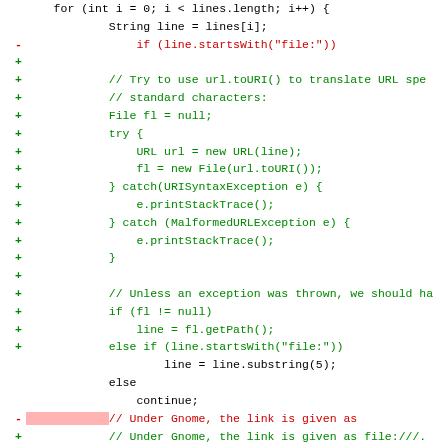[Figure (screenshot): Diff view of Java source code showing added (green +) and removed (red -) lines. The code handles file URL parsing with URL.toURI(), try/catch blocks for URISyntaxException and MalformedURLException, and logic for stripping extra slashes from Gnome file:/// links.]